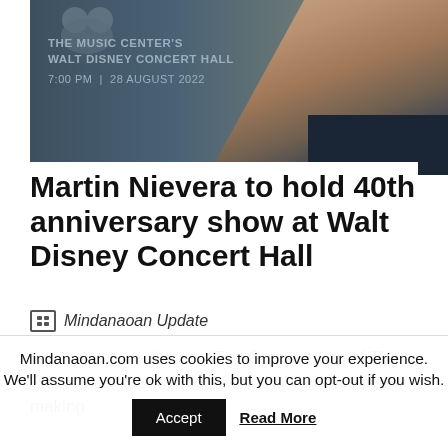[Figure (photo): Concert promotional image showing Walt Disney Concert Hall event details with a man's hand/face in background. Text reads: THE MUSIC CENTER'S WALT DISNEY CONCERT HALL, 7:00 PM | 28 AUGUST 2022]
Martin Nievera to hold 40th anniversary show at Walt Disney Concert Hall
Mindanaoan Update
He wouldn't be dubbed "The Concert King of The Philippines" for nothing. Martin Nievera has been making
Mindanaoan.com uses cookies to improve your experience. We'll assume you're ok with this, but you can opt-out if you wish.
Accept  Read More